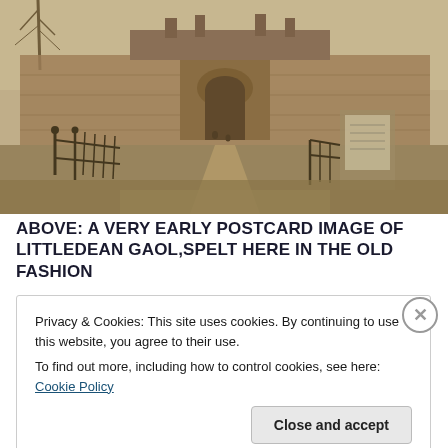[Figure (photo): Sepia/black-and-white historical postcard photograph of Littledean Gaol. Shows the exterior of the gaol building with high stone walls, an arched entrance gate along a dirt path, iron fence gates in the foreground, and bare trees to the left. Several figures visible on the path. A notice board or sign is visible on the right side wall.]
ABOVE: A VERY EARLY POSTCARD IMAGE OF LITTLEDEAN GAOL,SPELT HERE IN THE OLD FASHION
Privacy & Cookies: This site uses cookies. By continuing to use this website, you agree to their use.
To find out more, including how to control cookies, see here: Cookie Policy